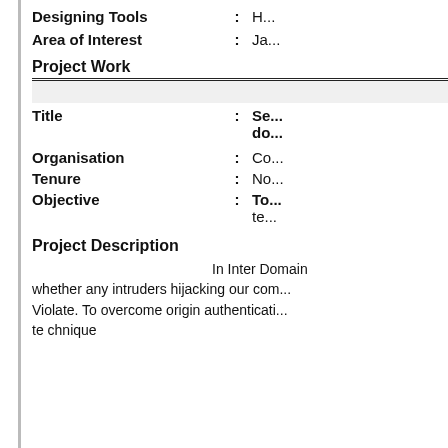Designing Tools : H...
Area of Interest : Ja...
Project Work
| Field |  | Value |
| --- | --- | --- |
| Title | : | Se... do... |
| Organisation | : | Co... |
| Tenure | : | No... |
| Objective | : | To... te... |
Project Description
In Inter Domain whether any intruders hijacking our com... Violate. To overcome origin authenticati... technique